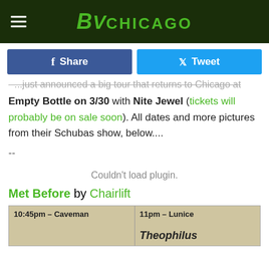BV Chicago
Share | Tweet
...just announced a big tour that returns to Chicago at Empty Bottle on 3/30 with Nite Jewel (tickets will probably be on sale soon). All dates and more pictures from their Schubas show, below....
--
Couldn't load plugin.
Met Before by Chairlift
[Figure (photo): Setlist image showing schedule: 10:45pm - Caveman, 11pm - Lunice, and partially visible Theophilus]